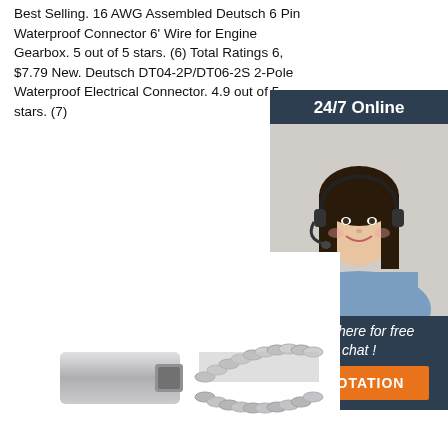Best Selling. 16 AWG Assembled Deutsch 6 Pin Waterproof Connector 6' Wire for Engine Gearbox. 5 out of 5 stars. (6) Total Ratings 6, $7.79 New. Deutsch DT04-2P/DT06-2S 2-Pole Waterproof Electrical Connector. 4.9 out of 5 stars. (7)
[Figure (infographic): 24/7 Online chat support widget with a woman wearing a headset, dark navy background, orange QUOTATION button and italic text 'Click here for free chat!']
[Figure (photo): Close-up photo of a silver metallic threaded connector or coupling component with spring coil and socket detail]